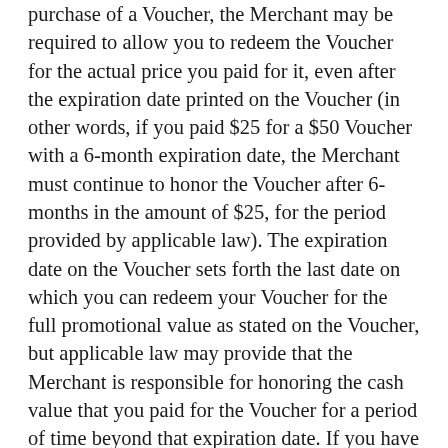purchase of a Voucher, the Merchant may be required to allow you to redeem the Voucher for the actual price you paid for it, even after the expiration date printed on the Voucher (in other words, if you paid $25 for a $50 Voucher with a 6-month expiration date, the Merchant must continue to honor the Voucher after 6-months in the amount of $25, for the period provided by applicable law). The expiration date on the Voucher sets forth the last date on which you can redeem your Voucher for the full promotional value as stated on the Voucher, but applicable law may provide that the Merchant is responsible for honoring the cash value that you paid for the Voucher for a period of time beyond that expiration date. If you have an expired Voucher and would like to redeem it, please present it at the Merchant to redeem the Voucher for the price paid for it. We have instructed the Merchant to honor the Voucher after its expiration date in the amount of the purchase price, for the minimum period of time required by applicable law. If you have presented the